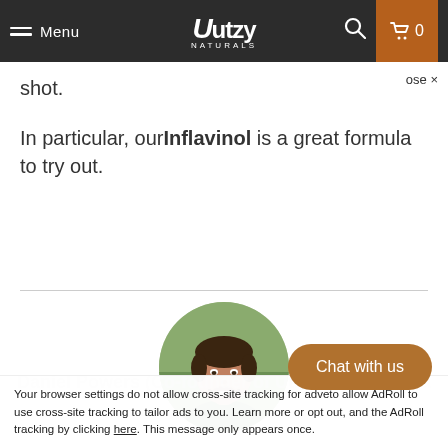Menu | Utzy Naturals | Search | Cart 0
shot.
In particular, ourInflavinol is a great formula to try out.
[Figure (photo): Circular cropped headshot of a young man with dark hair and beard, smiling, wearing a green shirt, outdoors background]
Your browser settings do not allow cross-site tracking for advertising. Enable cross-site tracking for the AdRoll to use cross-site tracking to tailor ads to you. Learn more or opt out, and the AdRoll tracking by clicking here. This message only appears once.
Daniel Powers (Co-founder of Utzy Naturals) is a